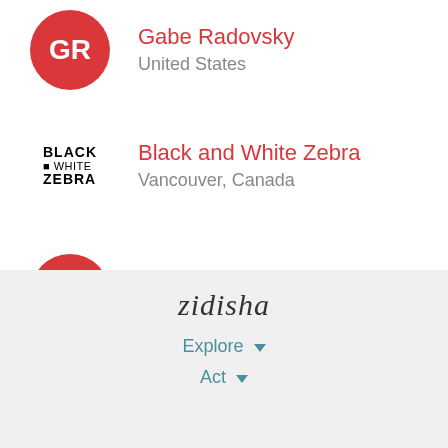Gabe Radovsky, United States
Black and White Zebra, Vancouver, Canada
Katka, Germany
zidisha | Explore | Act